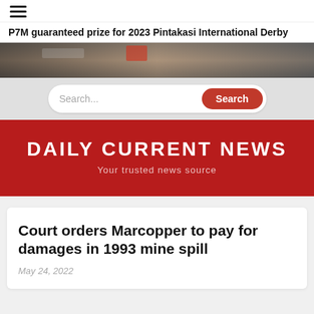P7M guaranteed prize for 2023 Pintakasi International Derby
[Figure (screenshot): News website hero image showing a blurred street/storefront scene]
Search...
DAILY CURRENT NEWS
Your trusted news source
Court orders Marcopper to pay for damages in 1993 mine spill
May 24, 2022